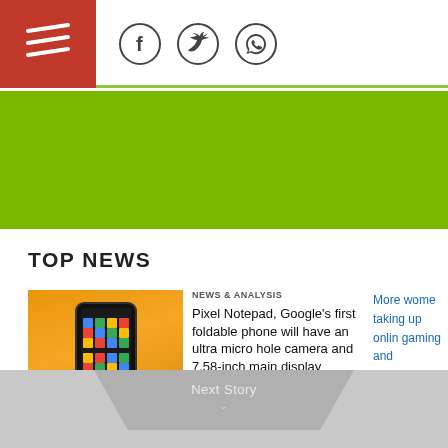// [logo] | Facebook icon | Twitter icon | WhatsApp icon
[Figure (other): Green banner advertisement area]
TOP NEWS
[Figure (photo): Pixel Notepad foldable phone on golden yellow background with colorful Google logo graphics]
NEWS & ANALYSIS
Pixel Notepad, Google's first foldable phone will have an ultra micro hole camera and 7.58-inch main display
More women taking up online gaming and developing games better for the industry as a whole. Here's how.
Next Story